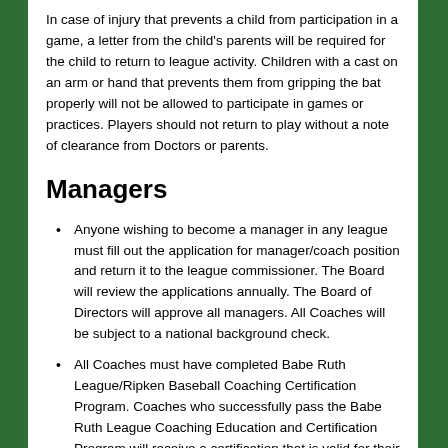In case of injury that prevents a child from participation in a game, a letter from the child's parents will be required for the child to return to league activity. Children with a cast on an arm or hand that prevents them from gripping the bat properly will not be allowed to participate in games or practices. Players should not return to play without a note of clearance from Doctors or parents.
Managers
Anyone wishing to become a manager in any league must fill out the application for manager/coach position and return it to the league commissioner. The Board will review the applications annually. The Board of Directors will approve all managers. All Coaches will be subject to a national background check.
All Coaches must have completed Babe Ruth League/Ripken Baseball Coaching Certification Program. Coaches who successfully pass the Babe Ruth League Coaching Education and Certification Program will receive a certification that is valid for their entire coaching career with Babe Ruth League, Inc. This also applies to any coach who has already taken and successfully passed the Babe Ruth Coaching Education and Certification Program.
All managers will be subject to a performance review by the Board of Directors.